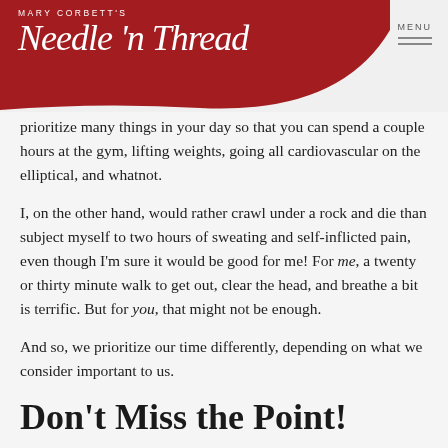MARY CORBETT'S Needle 'n Thread | MENU
prioritize many things in your day so that you can spend a couple hours at the gym, lifting weights, going all cardiovascular on the elliptical, and whatnot.
I, on the other hand, would rather crawl under a rock and die than subject myself to two hours of sweating and self-inflicted pain, even though I'm sure it would be good for me! For me, a twenty or thirty minute walk to get out, clear the head, and breathe a bit is terrific. But for you, that might not be enough.
And so, we prioritize our time differently, depending on what we consider important to us.
Don't Miss the Point!
I'm not telling you anything you don't already know!
Everyone's circumstances in life are different, and often we can't – or don't want to – do the same things that others do, when it